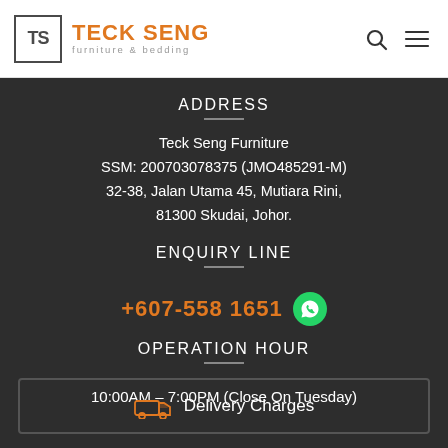TECK SENG furniture & bedding
ADDRESS
Teck Seng Furniture
SSM: 200703078375 (JMO485291-M)
32-38, Jalan Utama 45, Mutiara Rini,
81300 Skudai, Johor.
ENQUIRY LINE
+607-558 1651
OPERATION HOUR
10:00AM – 7:00PM (Close On Tuesday)
Delivery Charges